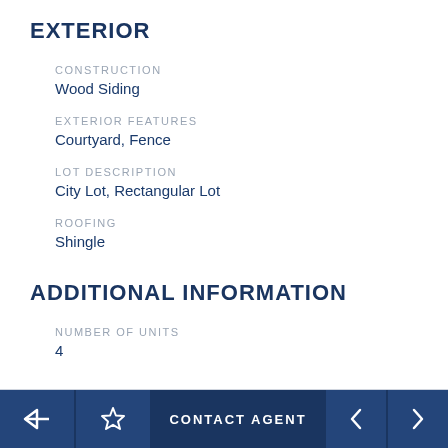EXTERIOR
CONSTRUCTION
Wood Siding
EXTERIOR FEATURES
Courtyard, Fence
LOT DESCRIPTION
City Lot, Rectangular Lot
ROOFING
Shingle
ADDITIONAL INFORMATION
NUMBER OF UNITS
4
← ☆ CONTACT AGENT ◄ ►